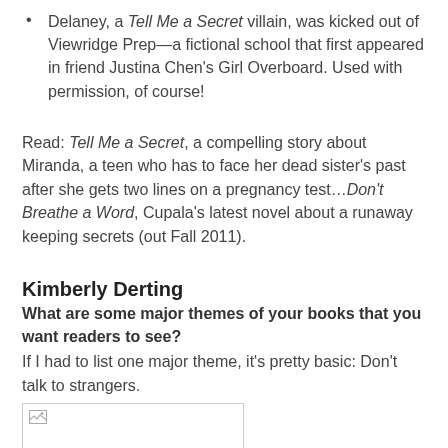Delaney, a Tell Me a Secret villain, was kicked out of Viewridge Prep—a fictional school that first appeared in friend Justina Chen's Girl Overboard. Used with permission, of course!
Read: Tell Me a Secret, a compelling story about Miranda, a teen who has to face her dead sister's past after she gets two lines on a pregnancy test...Don't Breathe a Word, Cupala's latest novel about a runaway keeping secrets (out Fall 2011).
Kimberly Derting
What are some major themes of your books that you want readers to see?
If I had to list one major theme, it's pretty basic: Don't talk to strangers.
[Figure (other): Broken image placeholder (small rectangle with image icon)]